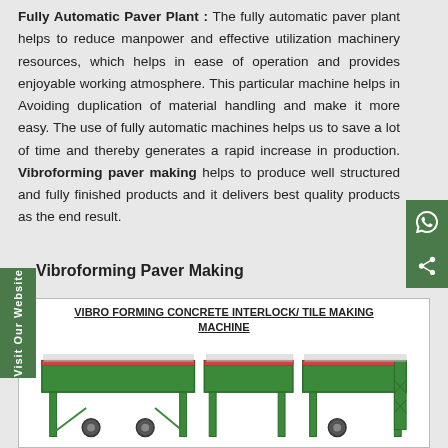Fully Automatic Paver Plant : The fully automatic paver plant helps to reduce manpower and effective utilization machinery resources, which helps in ease of operation and provides enjoyable working atmosphere. This particular machine helps in Avoiding duplication of material handling and make it more easy. The use of fully automatic machines helps us to save a lot of time and thereby generates a rapid increase in production. Vibroforming paver making helps to produce well structured and fully finished products and it delivers best quality products as the end result.
Vibroforming Paver Making
[Figure (photo): Vibro forming concrete interlock/tile making machine - green colored industrial machine with multiple sections and support legs]
VIBRO FORMING CONCRETE INTERLOCK/ TILE MAKING MACHINE